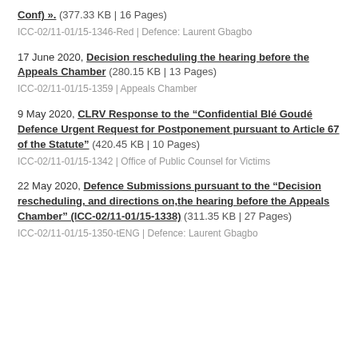Conf) ». (377.33 KB | 16 Pages)
ICC-02/11-01/15-1346-Red | Defence: Laurent Gbagbo
17 June 2020, Decision rescheduling the hearing before the Appeals Chamber (280.15 KB | 13 Pages)
ICC-02/11-01/15-1359 | Appeals Chamber
9 May 2020, CLRV Response to the “Confidential Blé Goudé Defence Urgent Request for Postponement pursuant to Article 67 of the Statute” (420.45 KB | 10 Pages)
ICC-02/11-01/15-1342 | Office of Public Counsel for Victims
22 May 2020, Defence Submissions pursuant to the “Decision rescheduling, and directions on,the hearing before the Appeals Chamber” (ICC-02/11-01/15-1338) (311.35 KB | 27 Pages)
ICC-02/11-01/15-1350-tENG | Defence: Laurent Gbagbo